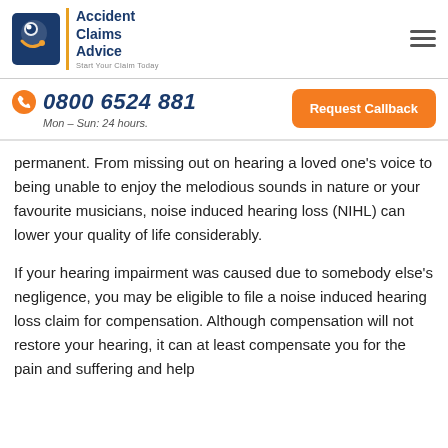[Figure (logo): Accident Claims Advice logo with circular blue icon and tagline 'Start Your Claim Today']
0800 6524 881
Mon – Sun: 24 hours.
Request Callback
permanent. From missing out on hearing a loved one's voice to being unable to enjoy the melodious sounds in nature or your favourite musicians, noise induced hearing loss (NIHL) can lower your quality of life considerably.
If your hearing impairment was caused due to somebody else's negligence, you may be eligible to file a noise induced hearing loss claim for compensation. Although compensation will not restore your hearing, it can at least compensate you for the pain and suffering and help